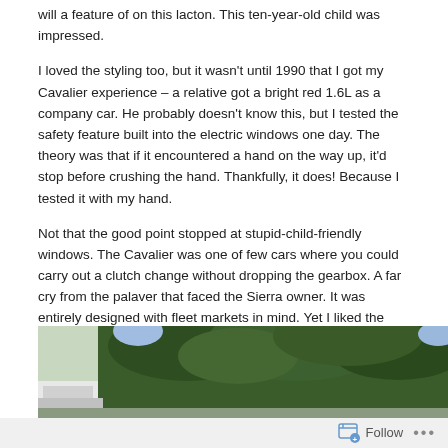will a feature of on this lacton. This ten-year-old child was impressed.
I loved the styling too, but it wasn't until 1990 that I got my Cavalier experience – a relative got a bright red 1.6L as a company car. He probably doesn't know this, but I tested the safety feature built into the electric windows one day. The theory was that if it encountered a hand on the way up, it'd stop before crushing the hand. Thankfully, it does! Because I tested it with my hand.
Not that the good point stopped at stupid-child-friendly windows. The Cavalier was one of few cars where you could carry out a clutch change without dropping the gearbox. A far cry from the palaver that faced the Sierra owner. It was entirely designed with fleet markets in mind. Yet I liked the growl that Vauxhall engines managed to deliver, even in 1.6 form.
I had to wait even longer than my LT moment to actually drive a Cavalier Mk3. The example I was faced with had typically crusty rear arches and was very evidently not in the first flush of youth.
[Figure (photo): A photograph showing a car partially visible on the left, with dense green trees/foliage in the background]
Follow ...